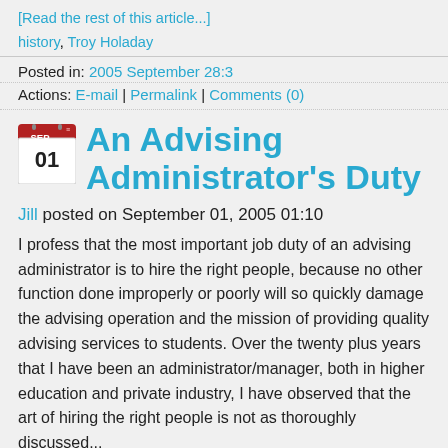[Read the rest of this article...]
history, Troy Holaday
Posted in: 2005 September 28:3
Actions: E-mail | Permalink | Comments (0)
An Advising Administrator's Duty
Jill posted on September 01, 2005 01:10
I profess that the most important job duty of an advising administrator is to hire the right people, because no other function done improperly or poorly will so quickly damage the advising operation and the mission of providing quality advising services to students. Over the twenty plus years that I have been an administrator/manager, both in higher education and private industry, I have observed that the art of hiring the right people is not as thoroughly discussed...